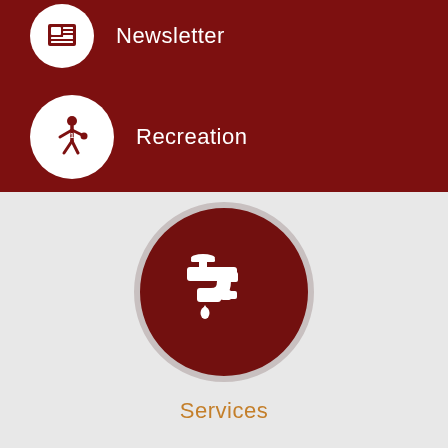[Figure (infographic): Dark red background section with white circle icon containing newspaper/newsletter icon and white text label 'Newsletter']
[Figure (infographic): Dark red background section with white circle icon containing person/recreation silhouette icon and white text label 'Recreation']
[Figure (infographic): Large dark red circle with water faucet/tap icon on light gray background]
Services